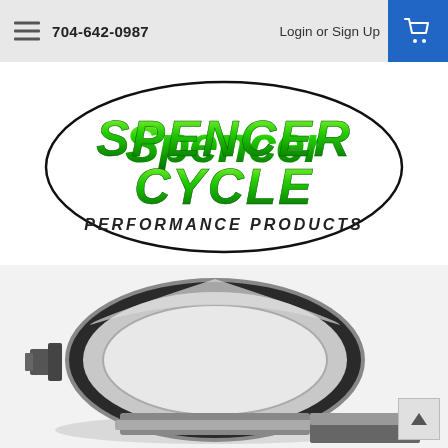704-642-0987   Login or Sign Up
[Figure (logo): Spencer Cycle Performance Products logo — green stylized text inside a black oval ellipse]
[Figure (photo): Metal clamp ring / exhaust flange clamp — chrome/silver metallic circular clamp with bolt hardware, photographed on white background]